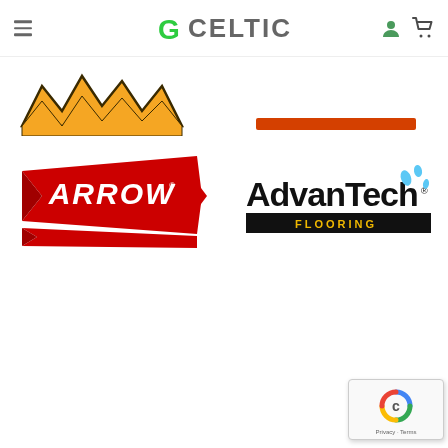[Figure (logo): GCeltic website header with hamburger menu, green G Celtic logo, user icon, and cart icon]
[Figure (logo): Partial brand logo top-left - orange/yellow jagged shape (Makita or similar brand, partially visible)]
[Figure (logo): Partial orange-red brand logo top-right (partially visible)]
[Figure (logo): Arrow brand logo - red banner with italic white ARROW text and arrow shape]
[Figure (logo): AdvanTech Flooring logo - black bold text with blue water splash drops and FLOORING text on dark bar]
[Figure (logo): reCAPTCHA privacy badge - bottom right corner with rotating arrows icon and Privacy - Terms text]